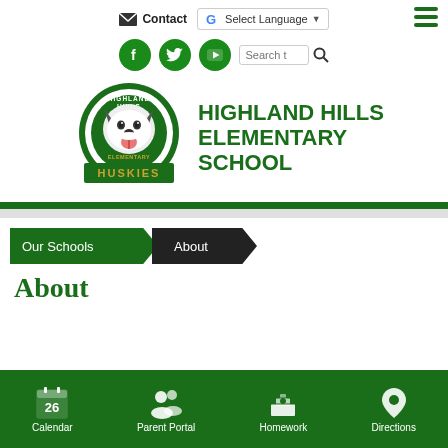Contact | Select Language
[Figure (screenshot): School website header with social media icons (Facebook, Twitter, YouTube), search box, and hamburger menu]
HIGHLAND HILLS ELEMENTARY SCHOOL
[Figure (logo): Highland Hills Elementary School Huskies mascot logo — husky dog with school name]
Our Schools > About
About
Calendar | Parent Portal | Homework | Directions